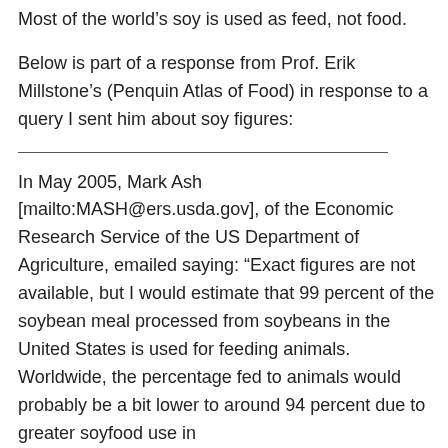Most of the world's soy is used as feed, not food.
Below is part of a response from Prof. Erik Millstone's (Penquin Atlas of Food) in response to a query I sent him about soy figures:
In May 2005, Mark Ash [mailto:MASH@ers.usda.gov], of the Economic Research Service of the US Department of Agriculture, emailed saying: “Exact figures are not available, but I would estimate that 99 percent of the soybean meal processed from soybeans in the United States is used for feeding animals. Worldwide, the percentage fed to animals would probably be a bit lower to around 94 percent due to greater soyfood use in